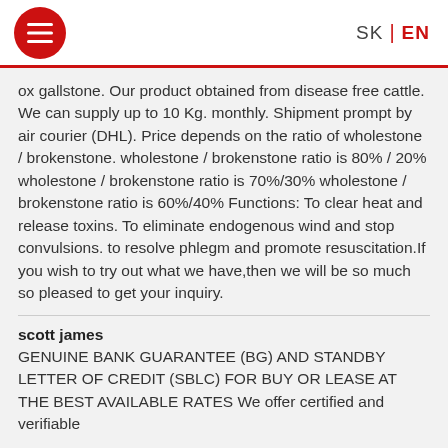SK | EN
ox gallstone. Our product obtained from disease free cattle. We can supply up to 10 Kg. monthly. Shipment prompt by air courier (DHL). Price depends on the ratio of wholestone / brokenstone. wholestone / brokenstone ratio is 80% / 20% wholestone / brokenstone ratio is 70%/30% wholestone / brokenstone ratio is 60%/40% Functions: To clear heat and release toxins. To eliminate endogenous wind and stop convulsions. to resolve phlegm and promote resuscitation.If you wish to try out what we have,then we will be so much so pleased to get your inquiry.
scott james
GENUINE BANK GUARANTEE (BG) AND STANDBY LETTER OF CREDIT (SBLC) FOR BUY OR LEASE AT THE BEST AVAILABLE RATES We offer certified and verifiable